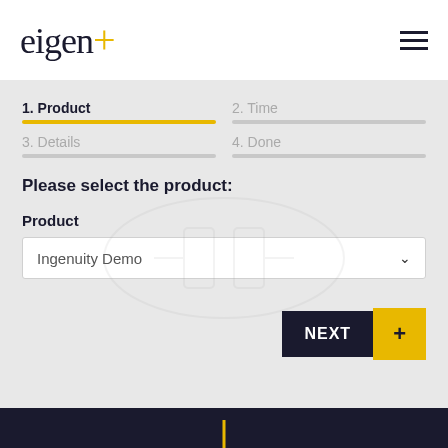[Figure (logo): eigen+ logo with yellow plus sign]
1. Product
2. Time
3. Details
4. Done
Please select the product:
Product
Ingenuity Demo